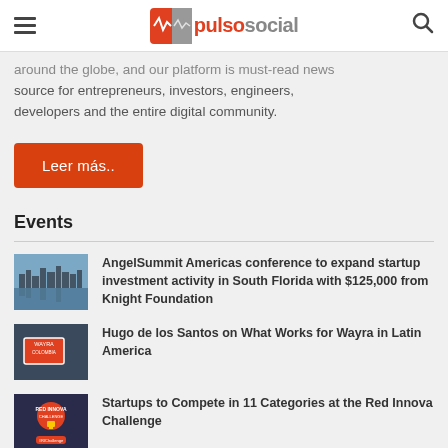pulsosocial
around the globe, and our platform is must-read news source for entrepreneurs, investors, engineers, developers and the entire digital community.
Leer más..
Events
AngelSummit Americas conference to expand startup investment activity in South Florida with $125,000 from Knight Foundation
Hugo de los Santos on What Works for Wayra in Latin America
Startups to Compete in 11 Categories at the Red Innova Challenge